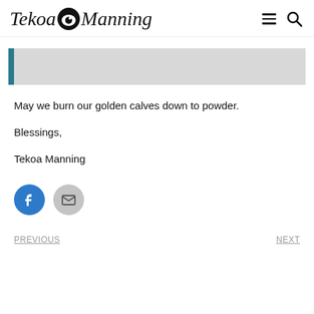Tekoa Manning
[Figure (other): Blockquote decorative bar with teal left border and grey background]
May we burn our golden calves down to powder.
Blessings,
Tekoa Manning
[Figure (other): Social sharing icons: Facebook (blue circle) and Email (grey circle)]
PREVIOUS   NEXT